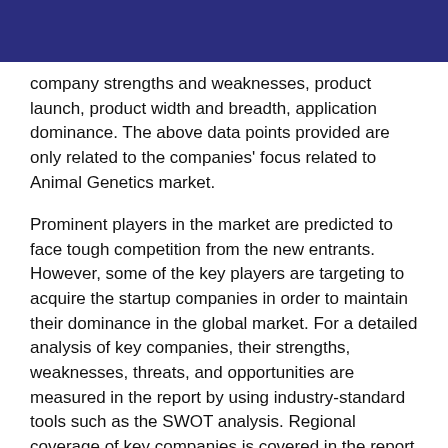company strengths and weaknesses, product launch, product width and breadth, application dominance. The above data points provided are only related to the companies' focus related to Animal Genetics market.
Prominent players in the market are predicted to face tough competition from the new entrants. However, some of the key players are targeting to acquire the startup companies in order to maintain their dominance in the global market. For a detailed analysis of key companies, their strengths, weaknesses, threats, and opportunities are measured in the report by using industry-standard tools such as the SWOT analysis. Regional coverage of key companies is covered in the report to measure their dominance. Key manufacturers of Animal Genetics market are focusing on introducing new products to meet the needs of the patrons. The feasibility of new products is also measured by using industry-standard tools.